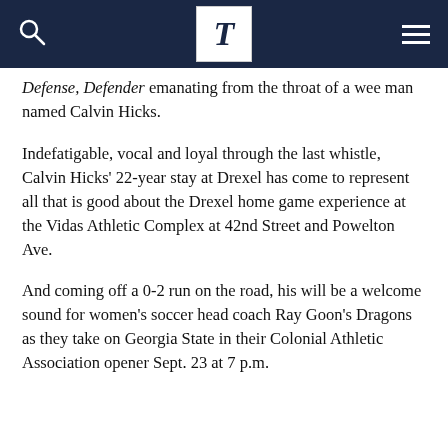T [navigation bar with search and menu]
Defense, Defender emanating from the throat of a wee man named Calvin Hicks.
Indefatigable, vocal and loyal through the last whistle, Calvin Hicks' 22-year stay at Drexel has come to represent all that is good about the Drexel home game experience at the Vidas Athletic Complex at 42nd Street and Powelton Ave.
And coming off a 0-2 run on the road, his will be a welcome sound for women's soccer head coach Ray Goon's Dragons as they take on Georgia State in their Colonial Athletic Association opener Sept. 23 at 7 p.m.